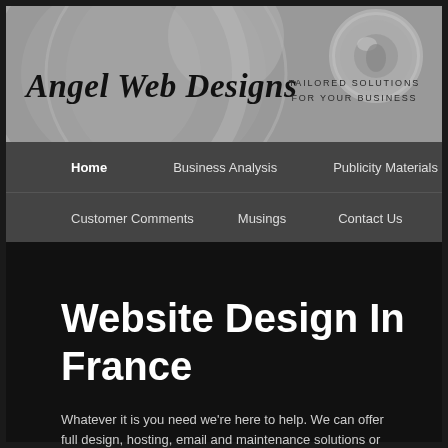[Figure (logo): Angel Web Designs banner with decorative grey circles, brand name in italic script, tagline 'Tailored Solutions For Your Business', and small sphere icon top right]
Angel Web Designs — Tailored Solutions For Your Business
Home
Business Analysis
Publicity Materials
Customer Comments
Musings
Contact Us
Website Design In France
Whatever it is you need we're here to help. We can offer full design, hosting, email and maintenance solutions or